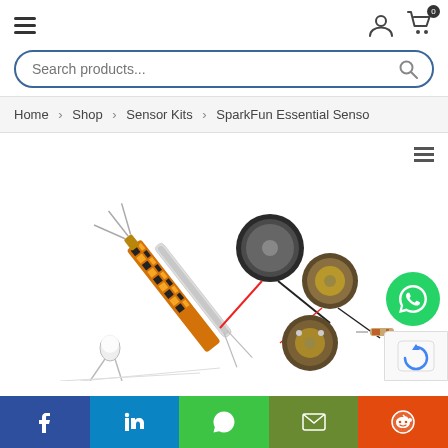Navigation header with hamburger menu, user icon, and cart icon (0 items)
Search products...
Home > Shop > Sensor Kits > SparkFun Essential Senso
[Figure (photo): Product photo showing SparkFun essential sensor kit components: a force sensitive resistor strip (orange PCB), a pressure sensor, two piezo vibration sensors (round discs with leads), an LED, resistors, and other small electronic components on a white background. WhatsApp chat button and reCAPTCHA badge visible as overlays.]
Social share bar: Facebook, LinkedIn, WhatsApp, Email, Reddit